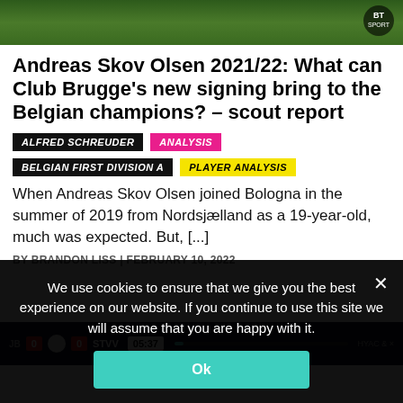[Figure (screenshot): Green football pitch top image with BT Sport logo overlay in top right corner]
Andreas Skov Olsen 2021/22: What can Club Brugge's new signing bring to the Belgian champions? – scout report
ALFRED SCHREUDER
ANALYSIS
BELGIAN FIRST DIVISION A
PLAYER ANALYSIS
When Andreas Skov Olsen joined Bologna in the summer of 2019 from Nordsjælland as a 19-year-old, much was expected. But, [...]
BY BRANDON LISS | FEBRUARY 10, 2022
[Figure (screenshot): Football match video scorebar showing Club Brugge 0 vs STVV 0 at 05:37 with progress bar]
We use cookies to ensure that we give you the best experience on our website. If you continue to use this site we will assume that you are happy with it.